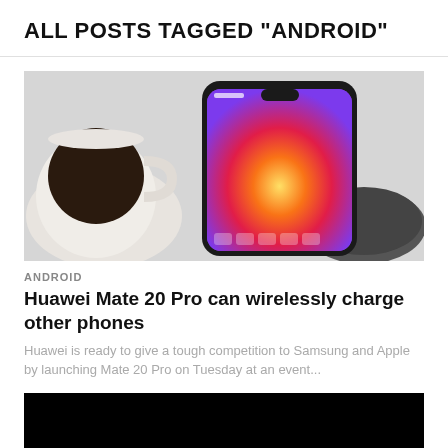ALL POSTS TAGGED "ANDROID"
[Figure (photo): Huawei Mate 20 Pro smartphone with colorful wallpaper displayed on screen, placed next to a coffee cup on a light gray surface, with a wireless charger pad visible]
ANDROID
Huawei Mate 20 Pro can wirelessly charge other phones
Huawei is ready to give a tough competition to Samsung and Apple by launching Mate 20 Pro on Tuesday at an event...
[Figure (photo): Partially visible dark/black image of a second article]